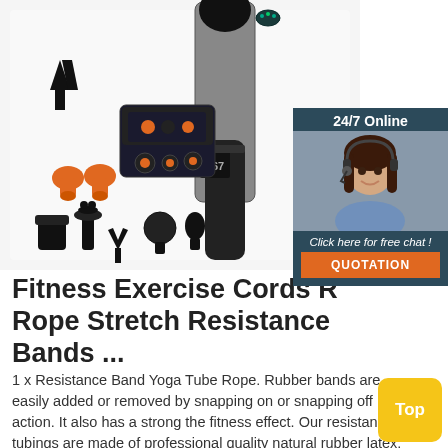[Figure (photo): Product photo of a massage gun with multiple attachment heads (black and orange), a carrying case, and various accessories laid out on white background]
[Figure (photo): Chat widget with '24/7 Online' label, female customer service agent with headset, 'Click here for free chat!' text, and orange QUOTATION button]
Fitness Exercise Cords R Rope Stretch Resistance Bands ...
1 x Resistance Band Yoga Tube Rope. Rubber bands are easily added or removed by snapping on or snapping off action. It also has a strong the fitness effect. Our resistance tubings are made of professional quality natural rubber latex.
[Figure (other): Yellow 'Top' button in bottom right corner]